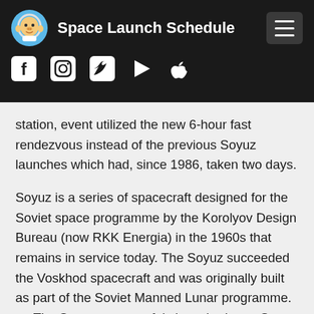Space Launch Schedule
station, event utilized the new 6-hour fast rendezvous instead of the previous Soyuz launches which had, since 1986, taken two days.
Soyuz is a series of spacecraft designed for the Soviet space programme by the Korolyov Design Bureau (now RKK Energia) in the 1960s that remains in service today. The Soyuz succeeded the Voskhod spacecraft and was originally built as part of the Soviet Manned Lunar programme. nn The Soyuz spacecraft is launched on a Soyuz rocket, the most frequently used and most reliable launch vehicle in the world to date. The Soyuz rocket